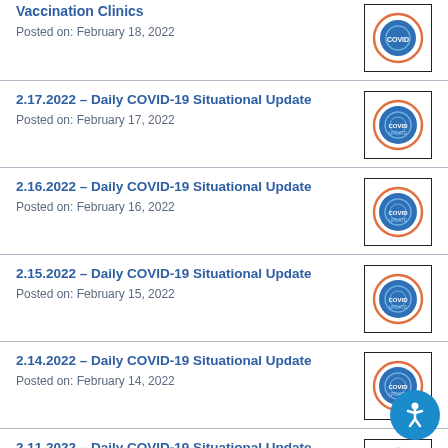Vaccination Clinics
Posted on: February 18, 2022
2.17.2022 – Daily COVID-19 Situational Update
Posted on: February 17, 2022
2.16.2022 – Daily COVID-19 Situational Update
Posted on: February 16, 2022
2.15.2022 – Daily COVID-19 Situational Update
Posted on: February 15, 2022
2.14.2022 – Daily COVID-19 Situational Update
Posted on: February 14, 2022
2.11.2022 – Daily COVID-19 Situational Update
Posted on: February 11, 2022